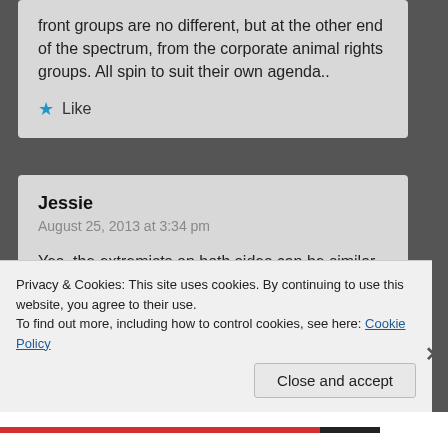front groups are no different, but at the other end of the spectrum, from the corporate animal rights groups. All spin to suit their own agenda..
Like
Jessie
August 25, 2013 at 3:34 pm
Yes, the extremists on both sides can be similar. Why, however, condemn one and refuse to even question the other? The anti-animal rights groups support practices that
Privacy & Cookies: This site uses cookies. By continuing to use this website, you agree to their use.
To find out more, including how to control cookies, see here: Cookie Policy